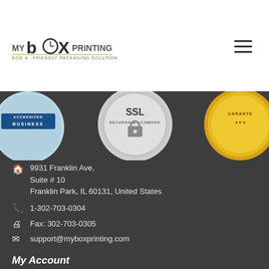[Figure (logo): MyBoxPrinting logo with ECO-FRIENDLY PACKAGING SOLUTION tagline]
[Figure (other): Hamburger menu icon (three horizontal lines)]
[Figure (other): Three trust badges: Accredited Business (BBB), SSL Secured by Comodo, and Guarantee seal]
9931 Franklin Ave, Suite # 10 Franklin Park, IL 60131, United States
1-302-703-0304
Fax: 302-703-0305
support@myboxprinting.com
My Account
Sign Up
Order History